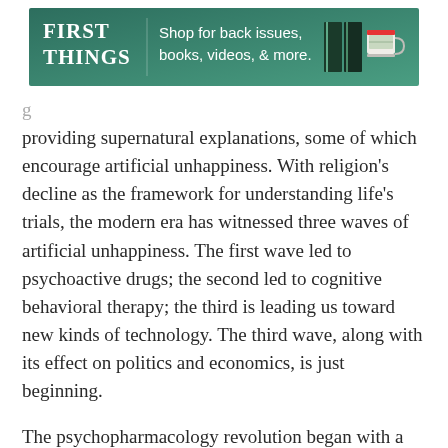[Figure (other): First Things advertisement banner with teal/green background, logo on left, text 'Shop for back issues, books, videos, & more.' in center, book and mug images on right]
providing supernatural explanations, some of which encourage artificial unhappiness. With religion’s decline as the framework for understanding life’s trials, the modern era has witnessed three waves of artificial unhappiness. The first wave led to psychoactive drugs; the second led to cognitive behavioral therapy; the third is leading us toward new kinds of technology. The third wave, along with its effect on politics and economics, is just beginning.
The psychopharmacology revolution began with a chance discovery in 1952 at Sea View Hospital in Staten Island, New York. Two doctors noticed the antidepressant side effects of the drug iproniazid,